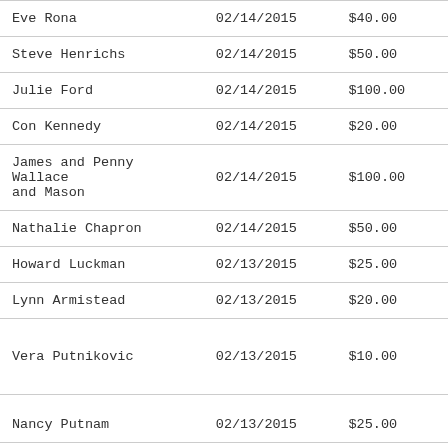| Name | Date | Amount |
| --- | --- | --- |
| Eve Rona | 02/14/2015 | $40.00 |
| Steve Henrichs | 02/14/2015 | $50.00 |
| Julie Ford | 02/14/2015 | $100.00 |
| Con Kennedy | 02/14/2015 | $20.00 |
| James and Penny Wallace and Mason | 02/14/2015 | $100.00 |
| Nathalie Chapron | 02/14/2015 | $50.00 |
| Howard Luckman | 02/13/2015 | $25.00 |
| Lynn Armistead | 02/13/2015 | $20.00 |
| Vera Putnikovic | 02/13/2015 | $10.00 |
| Nancy Putnam | 02/13/2015 | $25.00 |
| Aine McAteer | 02/13/2015 | $20.00 |
| Viji Veloo | 02/13/2015 | $80.00 |